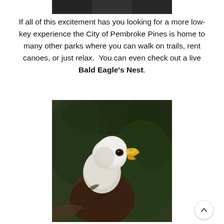[Figure (photo): Partial top portion of a dark photo, cropped at the top of the page]
If all of this excitement has you looking for a more low-key experience the City of Pembroke Pines is home to many other parks where you can walk on trails, rent canoes, or just relax.  You can even check out a live Bald Eagle’s Nest.
[Figure (photo): Close-up photograph of a Bald Eagle looking upward, with white head feathers, yellow beak, and dark brown body feathers, surrounded by grassy/nest material background]